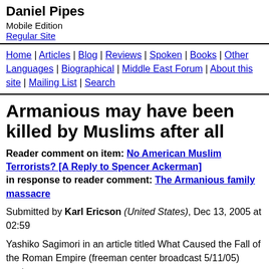Daniel Pipes
Mobile Edition
Regular Site
Home | Articles | Blog | Reviews | Spoken | Books | Other Languages | Biographical | Middle East Forum | About this site | Mailing List | Search
Armanious may have been killed by Muslims after all
Reader comment on item: No American Muslim Terrorists? [A Reply to Spencer Ackerman]
in response to reader comment: The Armanious family massacre
Submitted by Karl Ericson (United States), Dec 13, 2005 at 02:59
Yashiko Sagimori in an article titled What Caused the Fall of the Roman Empire (freeman center broadcast 5/11/05) wrote:
[D]o you remember the recent murder of the Armanious family in New Jersey? They were Copts, members of a